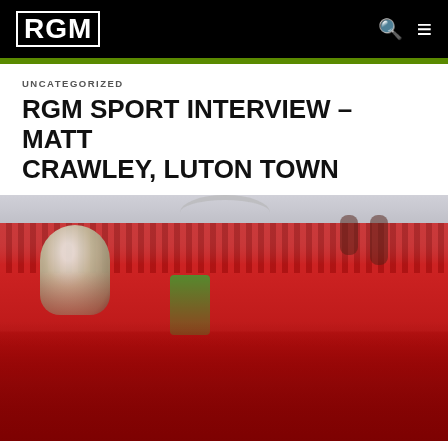RGM
UNCATEGORIZED
RGM SPORT INTERVIEW – MATT CRAWLEY, LUTON TOWN
[Figure (photo): Luton Town football players celebrating at Wembley Stadium, lifting a trophy with red stadium stands visible in the background]